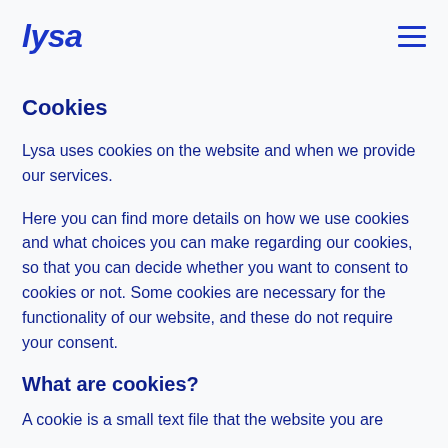lysa
Cookies
Lysa uses cookies on the website and when we provide our services.
Here you can find more details on how we use cookies and what choices you can make regarding our cookies, so that you can decide whether you want to consent to cookies or not. Some cookies are necessary for the functionality of our website, and these do not require your consent.
What are cookies?
A cookie is a small text file that the website you are